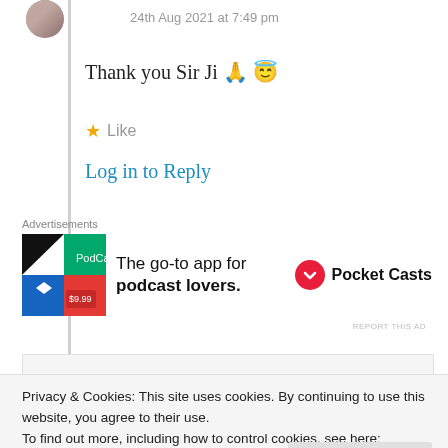24th Aug 2021 at 7:49 pm
Thank you Sir Ji 🙏 😇
★ Like
Log in to Reply
Advertisements
[Figure (other): Pocket Casts app advertisement showing colorful tiles and text 'The go-to app for podcast lovers. Pocket Casts']
REPORT THIS AD
Privacy & Cookies: This site uses cookies. By continuing to use this website, you agree to their use.
To find out more, including how to control cookies, see here: Cookie Policy
Close and accept
points, or as Jung would say, the light parts of all